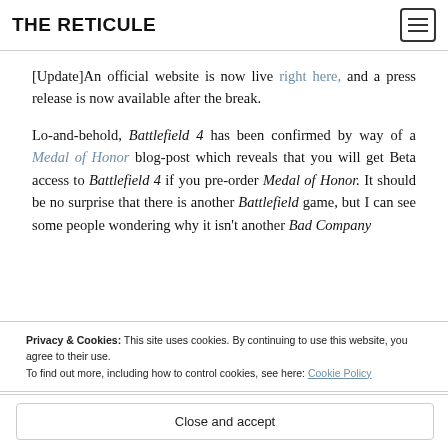THE RETICULE
[Update]An official website is now live right here, and a press release is now available after the break.
Lo-and-behold, Battlefield 4 has been confirmed by way of a Medal of Honor blog-post which reveals that you will get Beta access to Battlefield 4 if you pre-order Medal of Honor. It should be no surprise that there is another Battlefield game, but I can see some people wondering why it isn't another Bad Company
Privacy & Cookies: This site uses cookies. By continuing to use this website, you agree to their use. To find out more, including how to control cookies, see here: Cookie Policy
Close and accept
the title beyond the current planned DLC packs. One